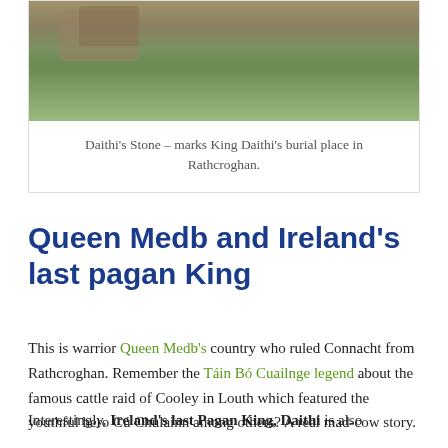[Figure (photo): Photograph of a grassy field with stones, partially cropped at top — Daithi's Stone at Rathcroghan.]
Daithi's Stone – marks King Daithi's burial place in Rathcroghan.
Queen Medb and Ireland's last pagan King
This is warrior Queen Medb's country who ruled Connacht from Rathcroghan. Remember the Táin Bó Cuailnge legend about the famous cattle raid of Cooley in Louth which featured the youthful hero Cú Chulainn among others? A real mad-cow story.
Interestingly, Ireland's last Pagan King, Daithi is also